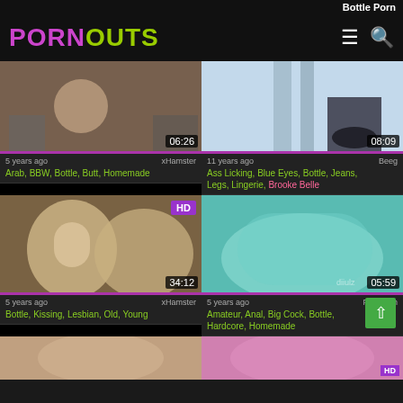Bottle Porn
PORNOUTS
[Figure (screenshot): Video thumbnail 1, duration 06:26]
5 years ago | xHamster | Arab, BBW, Bottle, Butt, Homemade
[Figure (screenshot): Video thumbnail 2, duration 08:09]
11 years ago | Beeg | Ass Licking, Blue Eyes, Bottle, Jeans, Legs, Lingerie, Brooke Belle
[Figure (screenshot): Video thumbnail 3, HD, duration 34:12]
5 years ago | xHamster | Bottle, Kissing, Lesbian, Old, Young
[Figure (screenshot): Video thumbnail 4, duration 05:59]
5 years ago | Porn.com | Amateur, Anal, Big Cock, Bottle, Hardcore, Homemade
[Figure (screenshot): Bottom row thumbnail 1]
[Figure (screenshot): Bottom row thumbnail 2, HD]